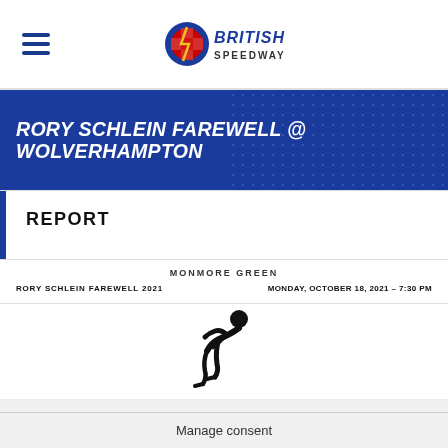British Speedway
RORY SCHLEIN FAREWELL @ WOLVERHAMPTON
REPORT
MONMORE GREEN
RORY SCHLEIN FAREWELL 2021 MONDAY, OCTOBER 18, 2021 –7:30 PM
[Figure (illustration): Speedway rider silhouette icon in black]
Manage consent